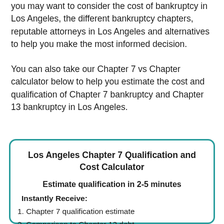you may want to consider the cost of bankruptcy in Los Angeles, the different bankruptcy chapters, reputable attorneys in Los Angeles and alternatives to help you make the most informed decision.
You can also take our Chapter 7 vs Chapter calculator below to help you estimate the cost and qualification of Chapter 7 bankruptcy and Chapter 13 bankruptcy in Los Angeles.
Los Angeles Chapter 7 Qualification and Cost Calculator
Estimate qualification in 2-5 minutes
Instantly Receive:
1. Chapter 7 qualification estimate
2. Comparison to Chapter 13 debt...